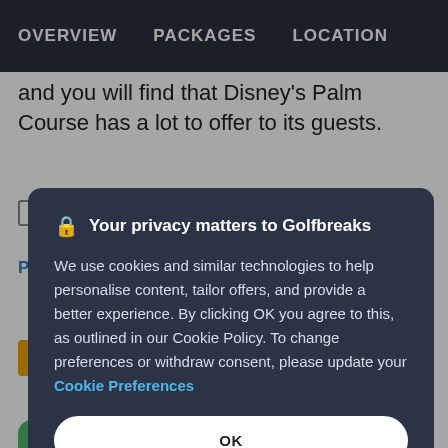OVERVIEW    PACKAGES    LOCATION
and you will find that Disney's Palm Course has a lot to offer to its guests.
[Figure (screenshot): Privacy consent modal dialog over Golfbreaks website. Modal has dark navy background with title 'Your privacy matters to Golfbreaks', cookie consent text, 'OK' button (white filled), and 'PREFERENCES' button (outline).]
Your privacy matters to Golfbreaks
We use cookies and similar technologies to help personalise content, tailor offers, and provide a better experience. By clicking OK you agree to this, as outlined in our Cookie Policy. To change preferences or withdraw consent, please update your Cookie Preferences